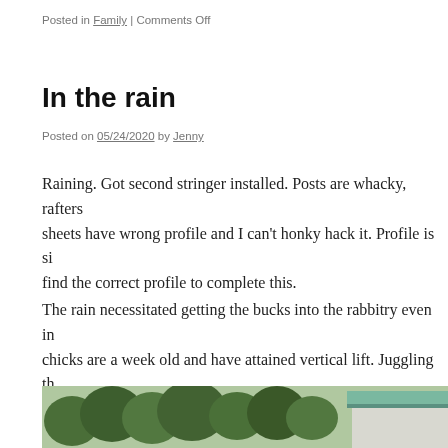Posted in Family | Comments Off
In the rain
Posted on 05/24/2020 by Jenny
Raining. Got second stringer installed. Posts are whacky, rafters sheets have wrong profile and I can’t honky hack it. Profile is si find the correct profile to complete this.
The rain necessitated getting the bucks into the rabbitry even in chicks are a week old and have attained vertical lift. Juggling th outdoor brooder (after its scrubbed and disinfected). I’ll move t (with heat lamp) probably tomorrow.
I’m soaked. Should’ve put on my rain gear…
[Figure (photo): Outdoor photo showing trees and what appears to be a building with a green/teal roof edge, partially visible at the bottom of the page.]